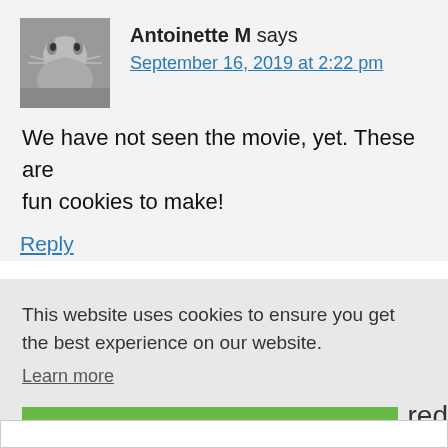Antoinette M says
September 16, 2019 at 2:22 pm
We have not seen the movie, yet. These are fun cookies to make!
Reply
This website uses cookies to ensure you get the best experience on our website.
Learn more
Got it!
red